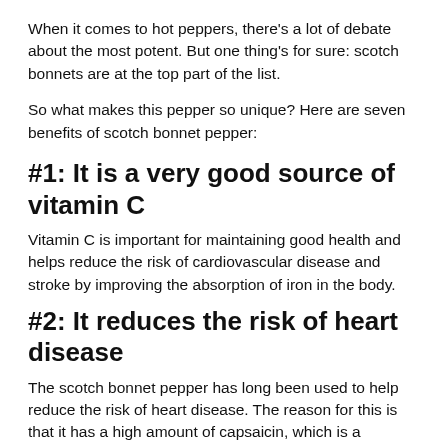When it comes to hot peppers, there's a lot of debate about the most potent. But one thing's for sure: scotch bonnets are at the top part of the list.
So what makes this pepper so unique? Here are seven benefits of scotch bonnet pepper:
#1: It is a very good source of vitamin C
Vitamin C is important for maintaining good health and helps reduce the risk of cardiovascular disease and stroke by improving the absorption of iron in the body.
#2: It reduces the risk of heart disease
The scotch bonnet pepper has long been used to help reduce the risk of heart disease. The reason for this is that it has a high amount of capsaicin, which is a chemical that helps to reduce inflammation and pain. It also helps to regulate blood pressure and lower LDL cholesterol levels.